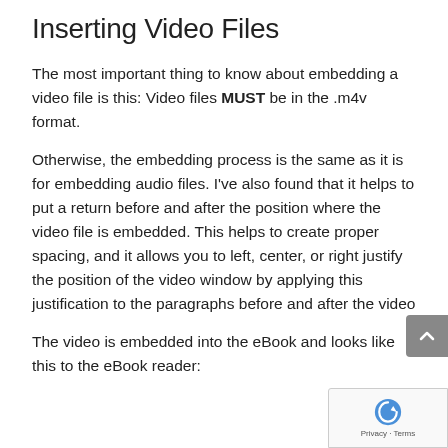Inserting Video Files
The most important thing to know about embedding a video file is this: Video files MUST be in the .m4v format.
Otherwise, the embedding process is the same as it is for embedding audio files. I've also found that it helps to put a return before and after the position where the video file is embedded. This helps to create proper spacing, and it allows you to left, center, or right justify the position of the video window by applying this justification to the paragraphs before and after the video
The video is embedded into the eBook and looks like this to the eBook reader: